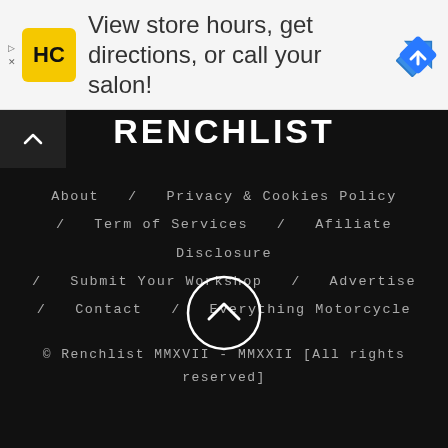[Figure (other): Advertisement banner: HC salon logo and 'View store hours, get directions, or call your salon!' text with navigation arrow icon]
RENCHLIST
About / Privacy & Cookies Policy / Term of Services / Afiliate Disclosure / Submit Your Workshop / Advertise / Contact / Everything Motorcycle
© Renchlist MMXVII - MMXXII [All rights reserved]
[Figure (other): Circle with upward chevron arrow (back to top button)]